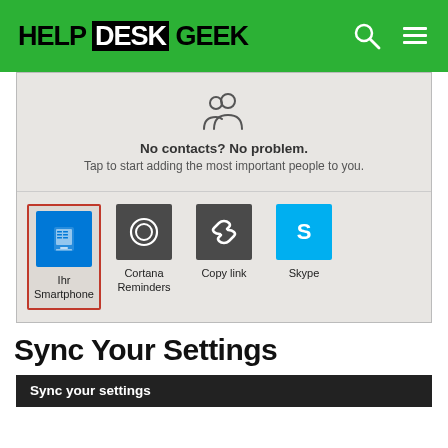HELP DESK GEEK
[Figure (screenshot): Windows 10 screenshot showing 'No contacts? No problem. Tap to start adding the most important people to you.' placeholder with app icons below including Ihr Smartphone (highlighted with red border), Cortana Reminders, Copy link, and Skype.]
Sync Your Settings
[Figure (screenshot): Partial screenshot showing 'Sync your settings' text on dark background.]